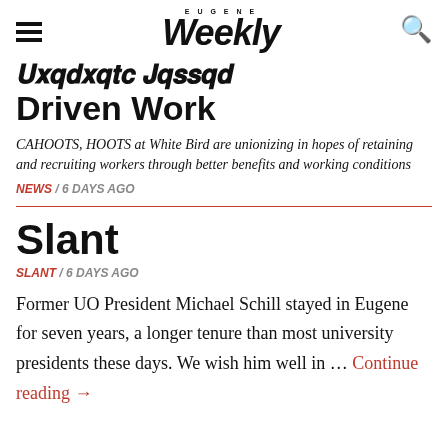Eugene Weekly
Unionizing Mission Driven Work
CAHOOTS, HOOTS at White Bird are unionizing in hopes of retaining and recruiting workers through better benefits and working conditions
NEWS / 6 DAYS AGO
Slant
SLANT / 6 DAYS AGO
Former UO President Michael Schill stayed in Eugene for seven years, a longer tenure than most university presidents these days. We wish him well in … Continue reading →